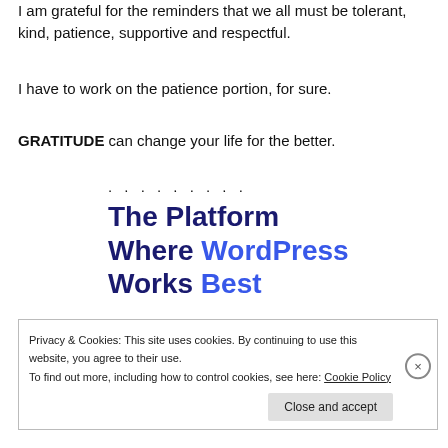I am grateful for the reminders that we all must be tolerant, kind, patience, supportive and respectful.
I have to work on the patience portion, for sure.
GRATITUDE can change your life for the better.
. . . . . . . . .
The Platform Where WordPress Works Best
Privacy & Cookies: This site uses cookies. By continuing to use this website, you agree to their use.
To find out more, including how to control cookies, see here: Cookie Policy
Close and accept